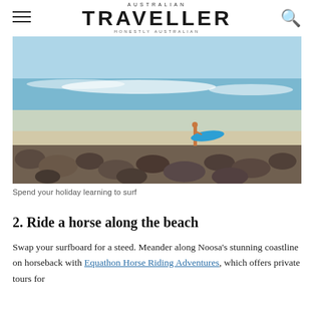AUSTRALIAN TRAVELLER — HONESTLY AUSTRALIAN
[Figure (photo): Person carrying a blue surfboard walking along a beach with rocks in the foreground and ocean waves in the background]
Spend your holiday learning to surf
2. Ride a horse along the beach
Swap your surfboard for a steed. Meander along Noosa's stunning coastline on horseback with Equathon Horse Riding Adventures, which offers private tours for